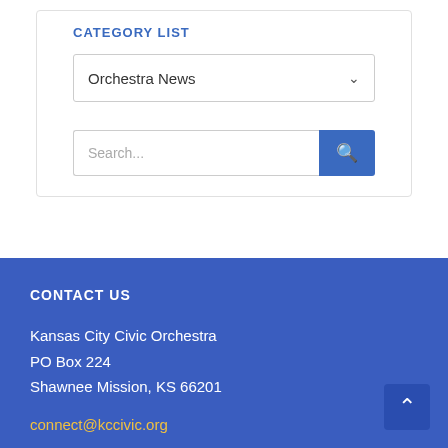CATEGORY LIST
Orchestra News
Search...
CONTACT US
Kansas City Civic Orchestra
PO Box 224
Shawnee Mission, KS 66201
connect@kccivic.org